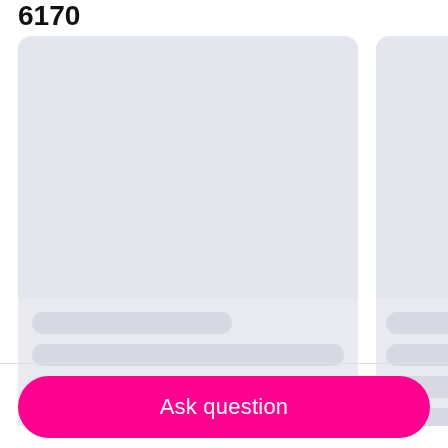6170
[Figure (screenshot): Two loading skeleton card placeholders side by side. Left card is larger with a rectangular image placeholder and three skeleton text lines below. Right card is partially visible with similar skeleton structure.]
Ask question